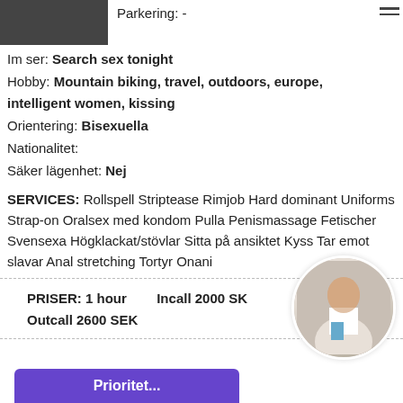[Figure (photo): Partial photo of a person at top left, dark/cropped]
Parkering: -
[Figure (other): Hamburger menu icon (three horizontal lines)]
Im ser: Search sex tonight
Hobby: Mountain biking, travel, outdoors, europe, intelligent women, kissing
Orientering: Bisexuella
Nationalitet:
Säker lägenhet: Nej
SERVICES: Rollspell Striptease Rimjob Hard dominant Uniforms Strap-on Oralsex med kondom Pulla Penismassage Fetischer Svensexa Högklackat/stövlar Sitta på ansiktet Kyss Tar emot slavar Anal stretching Tortyr Onani
[Figure (photo): Circular cropped photo of a woman in white top and blue shorts]
PRISER: 1 hour   Incall 2000 SK
Outcall 2600 SEK